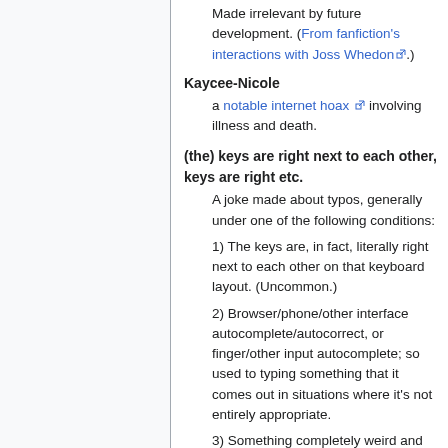Made irrelevant by future development. (From fanfiction's interactions with Joss Whedon.)
Kaycee-Nicole
a notable internet hoax involving illness and death.
(the) keys are right next to each other, keys are right etc.
A joke made about typos, generally under one of the following conditions:
1) The keys are, in fact, literally right next to each other on that keyboard layout. (Uncommon.)
2) Browser/phone/other interface autocomplete/autocorrect, or finger/other input autocomplete; so used to typing something that it comes out in situations where it's not entirely appropriate.
3) Something completely weird and out of context with absolutely no